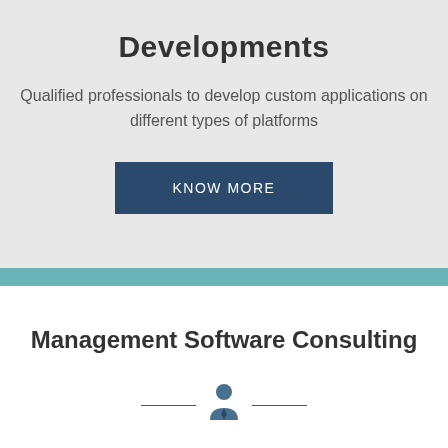Developments
Qualified professionals to develop custom applications on different types of platforms
KNOW MORE
Management Software Consulting
[Figure (illustration): Person/manager icon with horizontal lines on each side]